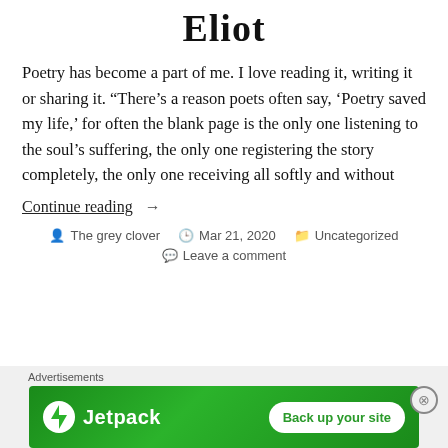Eliot
Poetry has become a part of me. I love reading it, writing it or sharing it. “There’s a reason poets often say, ‘Poetry saved my life,’ for often the blank page is the only one listening to the soul’s suffering, the only one registering the story completely, the only one receiving all softly and without
Continue reading →
The grey clover   Mar 21, 2020   Uncategorized   Leave a comment
[Figure (other): Jetpack advertisement banner with green background, Jetpack logo, and 'Back up your site' button]